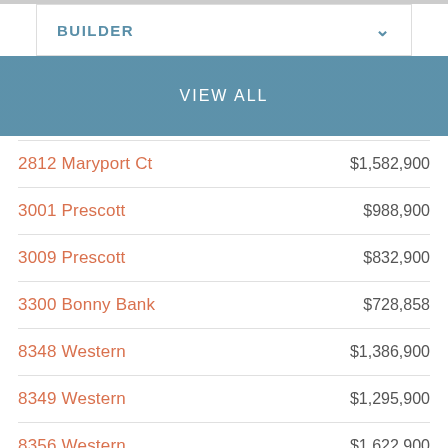BUILDER
VIEW ALL
| Address | Price |
| --- | --- |
| 2812 Maryport Ct | $1,582,900 |
| 3001 Prescott | $988,900 |
| 3009 Prescott | $832,900 |
| 3300 Bonny Bank | $728,858 |
| 8348 Western | $1,386,900 |
| 8349 Western | $1,295,900 |
| 8356 Western | $1,622,900 |